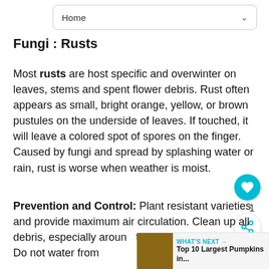Home
Fungi : Rusts
Most rusts are host specific and overwinter on leaves, stems and spent flower debris. Rust often appears as small, bright orange, yellow, or brown pustules on the underside of leaves. If touched, it will leave a colored spot of spores on the finger. Caused by fungi and spread by splashing water or rain, rust is worse when weather is moist.
Prevention and Control: Plant resistant varieties and provide maximum air circulation. Clean up all debris, especially around plants that have had a problem. Do not water from